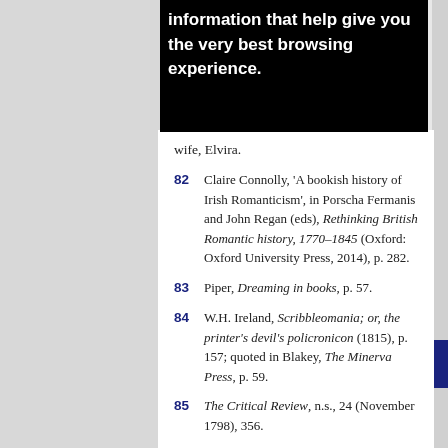information that help give you the very best browsing experience.
wife, Elvira.
82  Claire Connolly, 'A bookish history of Irish Romanticism', in Porscha Fermanis and John Regan (eds), Rethinking British Romantic history, 1770–1845 (Oxford: Oxford University Press, 2014), p. 282.
83  Piper, Dreaming in books, p. 57.
84  W.H. Ireland, Scribbleomania; or, the printer's devil's policronicon (1815), p. 157; quoted in Blakey, The Minerva Press, p. 59.
85  The Critical Review, n.s., 24 (November 1798), 356.
86  La belle Assemblée, n.s., 6 (1812), 371.